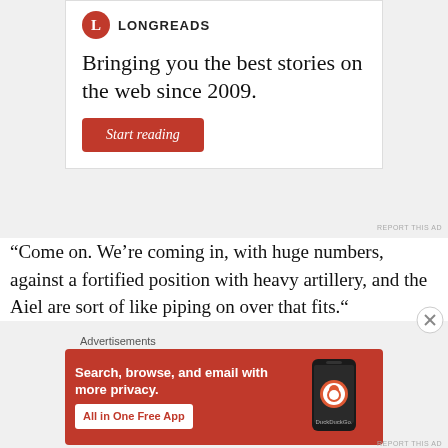[Figure (logo): Longreads logo and wordmark with tagline 'Bringing you the best stories on the web since 2009.' and a red 'Start reading' button]
REPORT THIS AD
“Come on. We’re coming in, with huge numbers, against a fortified position with heavy artillery, and the Aiel are sort of like...
Advertisements
[Figure (infographic): DuckDuckGo advertisement: orange background with text 'Search, browse, and email with more privacy. All in One Free App' and a phone graphic with DuckDuckGo logo]